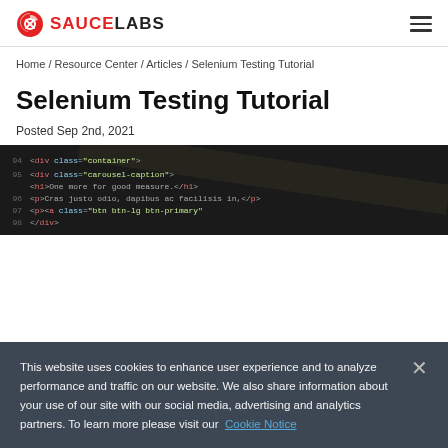SAUCE LABS
Home / Resource Center / Articles / Selenium Testing Tutorial
Selenium Testing Tutorial
Posted Sep 2nd, 2021
[Figure (screenshot): Dark background screenshot of HTML code in an editor showing lines 94-98 with div and h1 tags for a carousel component]
This website uses cookies to enhance user experience and to analyze performance and traffic on our website. We also share information about your use of our site with our social media, advertising and analytics partners. To learn more please visit our Cookie Notice